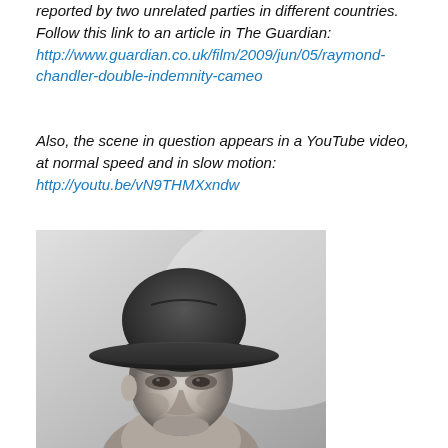reported by two unrelated parties in different countries. Follow this link to an article in The Guardian: http://www.guardian.co.uk/film/2009/jun/05/raymond-chandler-double-indemnity-cameo
Also, the scene in question appears in a YouTube video, at normal speed and in slow motion: http://youtu.be/vN9THMXxndw
[Figure (photo): Black and white portrait photograph of a man wearing a fedora hat, looking slightly downward, face partially shadowed by the hat brim.]